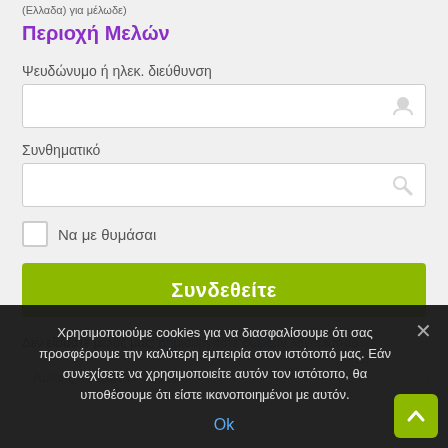(Ελλαδα) για μέλωδε
Περιοχή Μελών
Ψευδώνυμο ή ηλεκ. διεύθυνση
Συνθηματικό
Να με θυμάσαι
Συνδεθείτε
Δεν είσαστε μέλος μας; Δημιουργήστε δωρεάν λογαριασμό
Χρησιμοποιούμε cookies για να διασφαλίσουμε ότι σας προσφέρουμε την καλύτερη εμπειρία στον ιστότοπό μας. Εάν συνεχίσετε να χρησιμοποιείτε αυτόν τον ιστότοπο, θα υποθέσουμε ότι είστε ικανοποιημένοι με αυτόν.
Ok